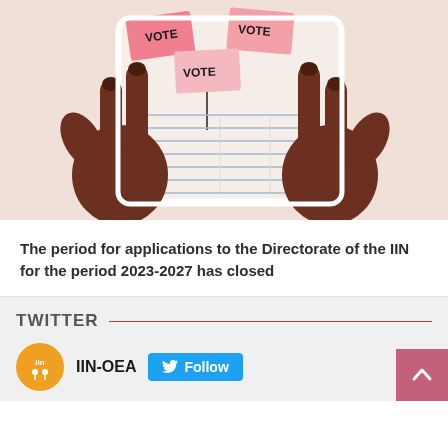[Figure (illustration): Illustration of two dark-skinned hands holding a voting ballot/paper with pink sticky notes saying 'VOTE' on an orange/beige background. The ballot shows lined form fields.]
The period for applications to the Directorate of the IIN for the period 2023-2027 has closed
TWITTER
IIN-OEA  Follow